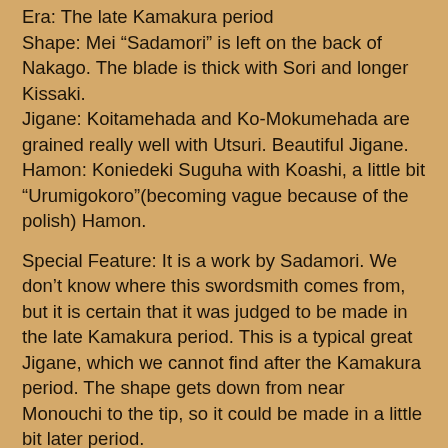Era: The late Kamakura period
Shape: Mei “Sadamori” is left on the back of Nakago. The blade is thick with Sori and longer Kissaki.
Jigane: Koitamehada and Ko-Mokumehada are grained really well with Utsuri. Beautiful Jigane.
Hamon: Koniedeki Suguha with Koashi, a little bit “Urumigokoro”(becoming vague because of the polish) Hamon.
Special Feature: It is a work by Sadamori. We don’t know where this swordsmith comes from, but it is certain that it was judged to be made in the late Kamakura period. This is a typical great Jigane, which we cannot find after the Kamakura period. The shape gets down from near Monouchi to the tip, so it could be made in a little bit later period.
From Aoi Art: It is disappointing that we have Urumigokoro on Suguha, but it has passed NBTHK Tokubetsu Hozon. As far as Tsuruta searched, there were 2 Sadamori, who